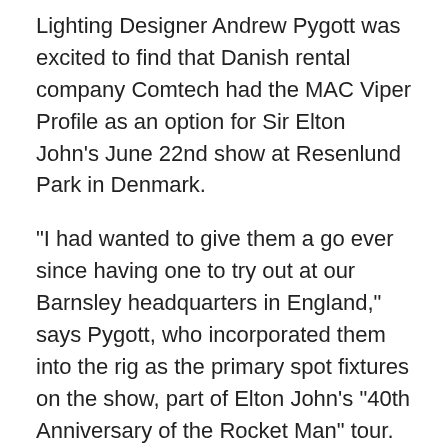Lighting Designer Andrew Pygott was excited to find that Danish rental company Comtech had the MAC Viper Profile as an option for Sir Elton John's June 22nd show at Resenlund Park in Denmark.
"I had wanted to give them a go ever since having one to try out at our Barnsley headquarters in England," says Pygott, who incorporated them into the rig as the primary spot fixtures on the show, part of Elton John's "40th Anniversary of the Rocket Man" tour.
"I was very happy with the size-to-light output ratio and the good selection of stock gobos available, making it an excellent fixture to clone into and to easily create multiple looks quickly."
Pygott positioned the Vipers on five of six aerial trusses, as well as on vertical towers at the rear of the